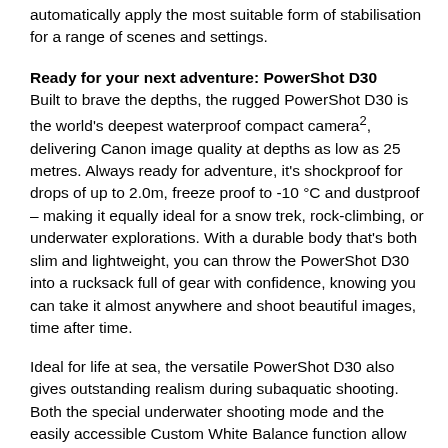automatically apply the most suitable form of stabilisation for a range of scenes and settings.
Ready for your next adventure: PowerShot D30
Built to brave the depths, the rugged PowerShot D30 is the world's deepest waterproof compact camera², delivering Canon image quality at depths as low as 25 metres. Always ready for adventure, it's shockproof for drops of up to 2.0m, freeze proof to -10 °C and dustproof – making it equally ideal for a snow trek, rock-climbing, or underwater explorations. With a durable body that's both slim and lightweight, you can throw the PowerShot D30 into a rucksack full of gear with confidence, knowing you can take it almost anywhere and shoot beautiful images, time after time.
Ideal for life at sea, the versatile PowerShot D30 also gives outstanding realism during subaquatic shooting. Both the special underwater shooting mode and the easily accessible Custom White Balance function allow you to quickly adjust settings for natural colours when submerged, whether you're exploring an undiscovered cave or the bright and vibrant life